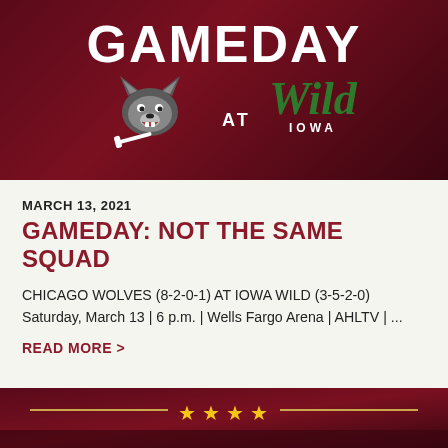[Figure (illustration): Gameday banner image: dark maroon/burgundy background with 'GAMEDAY' text at top, Chicago Wolves wolf logo on left, 'AT' in center, Iowa Wild logo on right (green script 'Wild' with 'Iowa' underneath)]
MARCH 13, 2021
GAMEDAY: NOT THE SAME SQUAD
CHICAGO WOLVES (8-2-0-1) AT IOWA WILD (3-5-2-0) Saturday, March 13 | 6 p.m. | Wells Fargo Arena | AHLTV |...
READ MORE >
[Figure (illustration): Bottom banner: dark maroon background with gold horizontal lines and four gold stars in the center, partial view of additional content below]